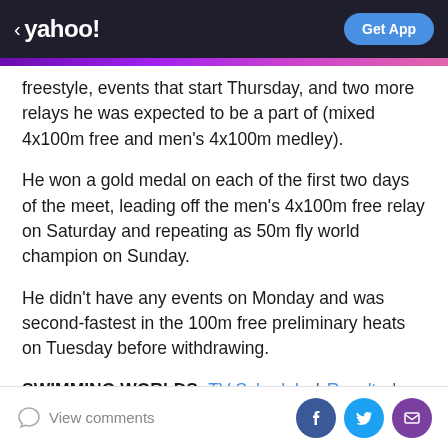< yahoo! | Get App
freestyle, events that start Thursday, and two more relays he was expected to be a part of (mixed 4x100m free and men's 4x100m medley).
He won a gold medal on each of the first two days of the meet, leading off the men's 4x100m free relay on Saturday and repeating as 50m fly world champion on Sunday.
He didn't have any events on Monday and was second-fastest in the 100m free preliminary heats on Tuesday before withdrawing.
SWIMMING WORLDS: TV Schedule | Results | U.S.
View comments | [Facebook] [Twitter] [Mail]